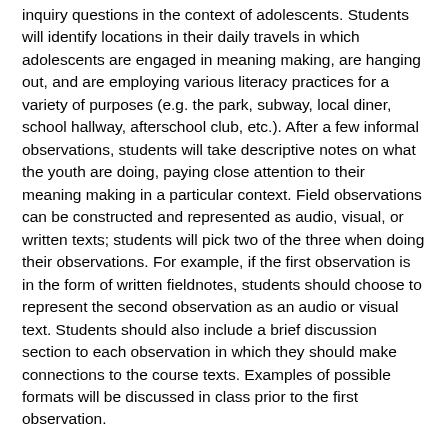inquiry questions in the context of adolescents. Students will identify locations in their daily travels in which adolescents are engaged in meaning making, are hanging out, and are employing various literacy practices for a variety of purposes (e.g. the park, subway, local diner, school hallway, afterschool club, etc.). After a few informal observations, students will take descriptive notes on what the youth are doing, paying close attention to their meaning making in a particular context. Field observations can be constructed and represented as audio, visual, or written texts; students will pick two of the three when doing their observations. For example, if the first observation is in the form of written fieldnotes, students should choose to represent the second observation as an audio or visual text. Students should also include a brief discussion section to each observation in which they should make connections to the course texts. Examples of possible formats will be discussed in class prior to the first observation.
in class, in the weeks leading up to the due date, there was some considerable anxiety and confusion around what exactly i was expecting. and, to be honest, i wasn't sure...! i really was interested to learn about the different spaces for literate engagement that the students would explore, as well as the ways in which they would experiment with the